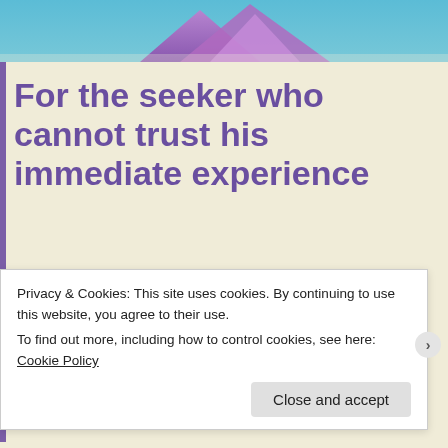[Figure (photo): Top banner image showing abstract purple and teal/blue mountain-like shapes against a sky background]
For the seeker who cannot trust his immediate experience
Posted on November 9, 2020
Thought will always want to understand and intellectualize everything, this is what thoughts are about: analysing,
Privacy & Cookies: This site uses cookies. By continuing to use this website, you agree to their use.
To find out more, including how to control cookies, see here: Cookie Policy
Close and accept